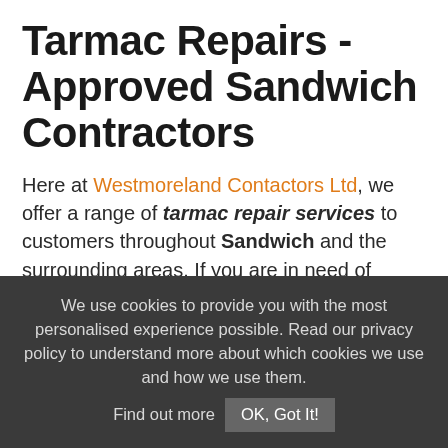Tarmac Repairs - Approved Sandwich Contractors
Here at Westmoreland Contactors Ltd, we offer a range of tarmac repair services to customers throughout Sandwich and the surrounding areas. If you are in need of Tarmacadam repair services in and around Sandwich then get in touch with the experts at Westmoreland Contactors Ltd. We provide professional
We use cookies to provide you with the most personalised experience possible. Read our privacy policy to understand more about which cookies we use and how we use them. Find out more  OK, Got It!